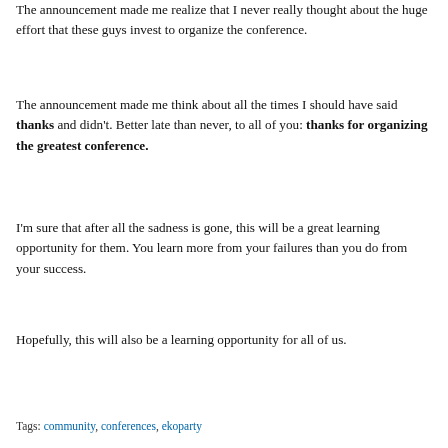The announcement made me realize that I never really thought about the huge effort that these guys invest to organize the conference.
The announcement made me think about all the times I should have said thanks and didn't. Better late than never, to all of you: thanks for organizing the greatest conference.
I'm sure that after all the sadness is gone, this will be a great learning opportunity for them. You learn more from your failures than you do from your success.
Hopefully, this will also be a learning opportunity for all of us.
Tags: community, conferences, ekoparty